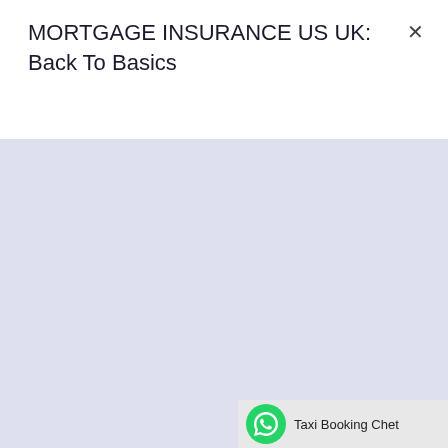MORTGAGE INSURANCE US UK: Back To Basics
[Figure (other): Large light periwinkle/lavender blue blank rectangular area occupying the main body of the page below the header]
Taxi Booking Chet